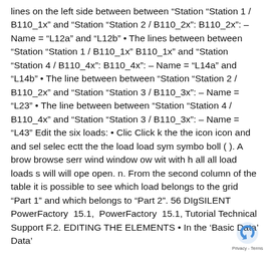lines on the left side between between “Station “Station 1 / B110_1x” and “Station “Station 2 / B110_2x”: B110_2x”: – Name = “L12a” and “L12b” • The lines between between “Station “Station 1 / B110_1x” B110_1x” and “Station “Station 4 / B110_4x”: B110_4x”: – Name = “L14a” and “L14b” • The line between between “Station “Station 2 / B110_2x” and “Station “Station 3 / B110_3x”: – Name = “L23” • The line between between “Station “Station 4 / B110_4x” and “Station “Station 3 / B110_3x”: – Name = “L43” Edit the six loads: • Clic Click k the the icon icon and and sel selec ectt the the load load sym symbo boll ( ). A brow browse serr wind window ow wit with h all all load loads s will will ope open. n. From the second column of the table it is possible to see which load belongs to the grid “Part 1” and which belongs to “Part 2”. 56 DIgSILENT PowerFactory 15.1, PowerFactory 15.1, Tutorial Technical Support F.2. EDITING THE ELEMENTS • In the ‘Basic Data’ Data’